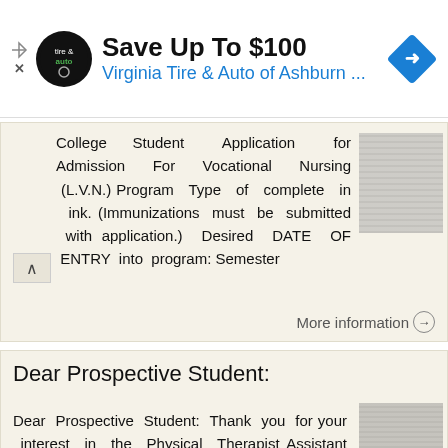[Figure (screenshot): Advertisement banner: Save Up To $100 Virginia Tire & Auto of Ashburn ... with logo and directional sign icon]
College Student Application for Admission For Vocational Nursing (L.V.N.) Program Type of complete in ink. (Immunizations must be submitted with application.) Desired DATE OF ENTRY into program: Semester
More information →
Dear Prospective Student:
Dear Prospective Student: Thank you for your interest in the Physical Therapist Assistant Program at Darton State College. Please note the PTA program has a selective admissions process, therefore due
More information →